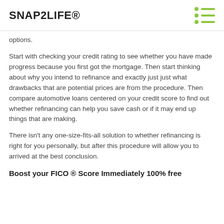SNAP2LIFE®
options.
Start with checking your credit rating to see whether you have made progress because you first got the mortgage. Then start thinking about why you intend to refinance and exactly just just what drawbacks that are potential prices are from the procedure. Then compare automotive loans centered on your credit score to find out whether refinancing can help you save cash or if it may end up things that are making.
There isn't any one-size-fits-all solution to whether refinancing is right for you personally, but after this procedure will allow you to arrived at the best conclusion.
Boost your FICO ® Score Immediately 100% free